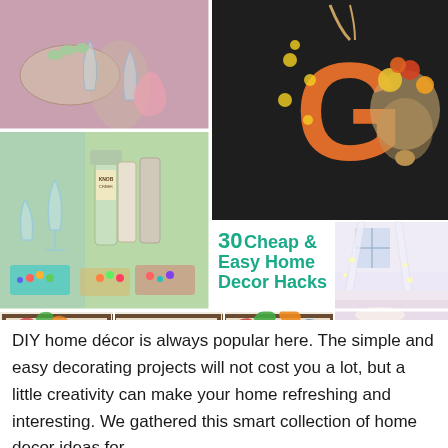[Figure (photo): Collage of DIY home decor project photos: hands painting wine glass, decorative letter G on dark background with floral wreath, colored bottles and glasses with candies/beads, a title overlay '30 Cheap & Easy Home Decor Hacks', framed handprint art photos, and a bedroom with hanging canopy lights]
DIY home décor is always popular here. The simple and easy decorating projects will not cost you a lot, but a little creativity can make your home refreshing and interesting. We gathered this smart collection of home decor ideas for